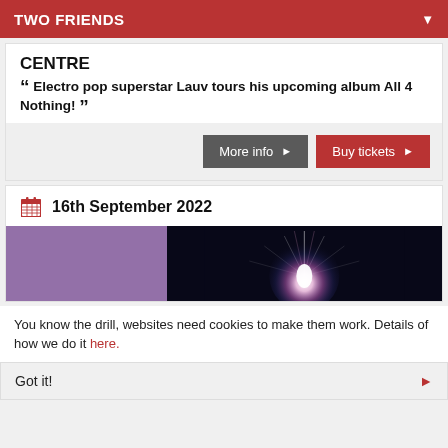TWO FRIENDS
CENTRE
“ Electro pop superstar Lauv tours his upcoming album All 4 Nothing! ”
More info ▶
Buy tickets ▶
16th September 2022
[Figure (photo): Event promotional image split into purple left half and dark background with pink starburst light effect on right half]
You know the drill, websites need cookies to make them work. Details of how we do it here.
Got it!